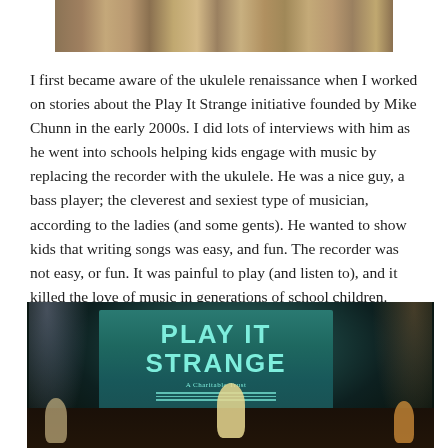[Figure (photo): Partial top portion of a photograph showing what appears to be a music-related scene, cropped at the top of the page.]
I first became aware of the ukulele renaissance when I worked on stories about the Play It Strange initiative founded by Mike Chunn in the early 2000s. I did lots of interviews with him as he went into schools helping kids engage with music by replacing the recorder with the ukulele. He was a nice guy, a bass player; the cleverest and sexiest type of musician, according to the ladies (and some gents). He wanted to show kids that writing songs was easy, and fun. The recorder was not easy, or fun. It was painful to play (and listen to), and it killed the love of music in generations of school children.
[Figure (photo): Photograph of a stage performance with a 'Play It Strange – A Charitable Trust' logo projected on a screen behind the performers. The scene shows musicians on a darkened stage with spotlights.]